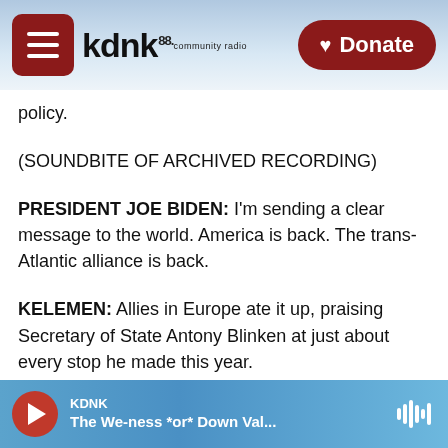[Figure (screenshot): KDNK 88.1 community radio website header with logo, hamburger menu button, mountain background image, and red Donate button]
policy.
(SOUNDBITE OF ARCHIVED RECORDING)
PRESIDENT JOE BIDEN: I'm sending a clear message to the world. America is back. The trans-Atlantic alliance is back.
KELEMEN: Allies in Europe ate it up, praising Secretary of State Antony Blinken at just about every stop he made this year.
(SOUNDBITE OF ARCHIVED RECORDING)
KDNK — The We-ness *or* Down Val...